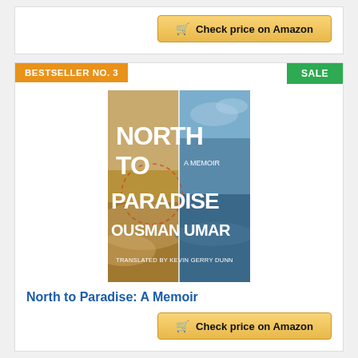Check price on Amazon
BESTSELLER NO. 3
SALE
[Figure (photo): Book cover of 'North to Paradise: A Memoir' by Ousman Umar, translated by Kevin Gerry Dunn. Left half shows sandy desert landscape, right half shows ocean/sky. White bold text reads NORTH TO PARADISE, A MEMOIR, OUSMAN UMAR, TRANSLATED BY KEVIN GERRY DUNN.]
North to Paradise: A Memoir
Check price on Amazon